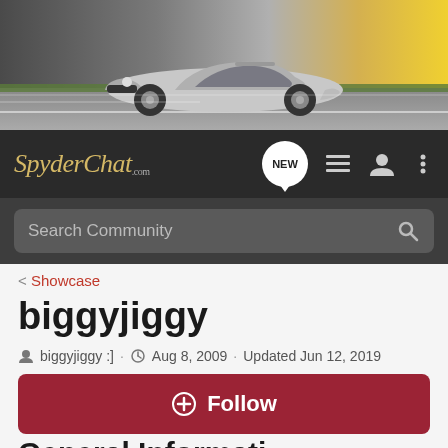[Figure (photo): Hero banner showing a silver Toyota MR2 Spyder convertible sports car on a race track with motion blur background and golden sky]
[Figure (screenshot): SpyderChat.com navigation bar with logo, NEW chat bubble icon, list icon, user icon, and three-dot menu icon]
[Figure (screenshot): Dark search bar with 'Search Community' placeholder text and magnifier icon]
< Showcase
biggyjiggy
biggyjiggy :] · Aug 8, 2009 · Updated Jun 12, 2019
+ Follow
General Information